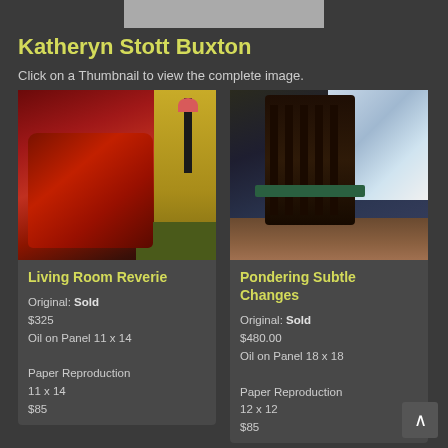[Figure (photo): Partial image bar at top of page, gray thumbnail strip]
Katheryn Stott Buxton
Click on a Thumbnail to view the complete image.
[Figure (photo): Painting of a red armchair with a floor lamp and yellow wall - Living Room Reverie]
Living Room Reverie
Original: Sold
$325
Oil on Panel 11 x 14

Paper Reproduction
11 x 14
$85
[Figure (photo): Painting of a dark wooden rocking chair against a blue and light wall - Pondering Subtle Changes]
Pondering Subtle Changes
Original: Sold
$480.00
Oil on Panel 18 x 18

Paper Reproduction
12 x 12
$85